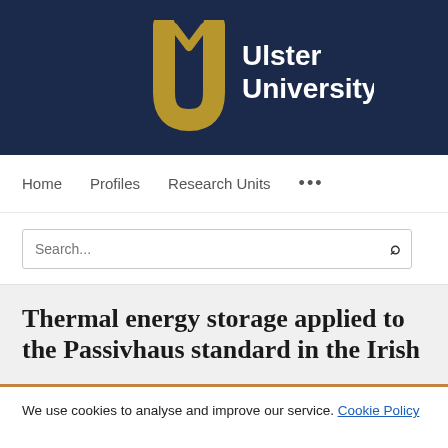[Figure (logo): Ulster University logo with gold 'U' lettermark and white text 'Ulster University' on dark navy background]
Home   Profiles   Research Units   ...
Search...
Thermal energy storage applied to the Passivhaus standard in the Irish
We use cookies to analyse and improve our service. Cookie Policy